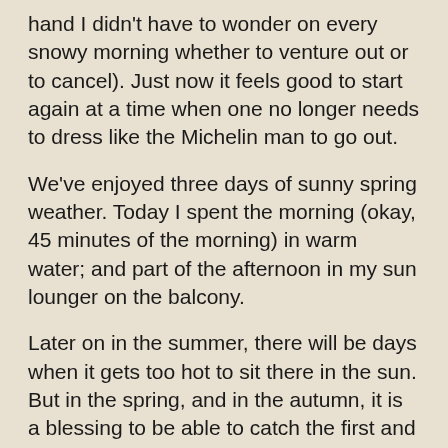hand I didn't have to wonder on every snowy morning whether to venture out or to cancel). Just now it feels good to start again at a time when one no longer needs to dress like the Michelin man to go out.
We've enjoyed three days of sunny spring weather. Today I spent the morning (okay, 45 minutes of the morning) in warm water; and part of the afternoon in my sun lounger on the balcony.
Later on in the summer, there will be days when it gets too hot to sit there in the sun. But in the spring, and in the autumn, it is a blessing to be able to catch the first and the last sunny days.
Today as I sat there I watched (and listened to) gulls soaring high above against a clear blue sky, and occasionally landing on the roofs nearby. They are a sign of spring, since I live an hour's drive or so from the sea and...